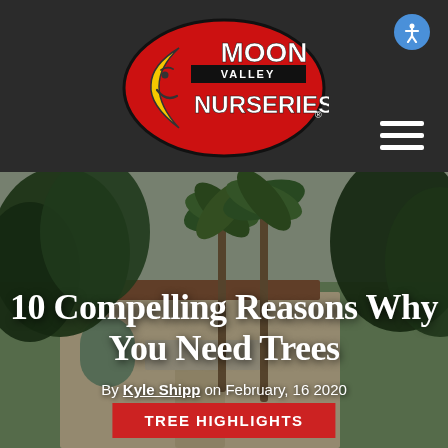[Figure (logo): Moon Valley Nurseries logo: red oval with yellow crescent moon face and white bold text 'MOON VALLEY NURSERIES']
[Figure (photo): Hero photograph of a large upscale house surrounded by tall palm trees and lush green trees, with overlaid article title text and byline]
10 Compelling Reasons Why You Need Trees
By Kyle Shipp on February, 16 2020
TREE HIGHLIGHTS